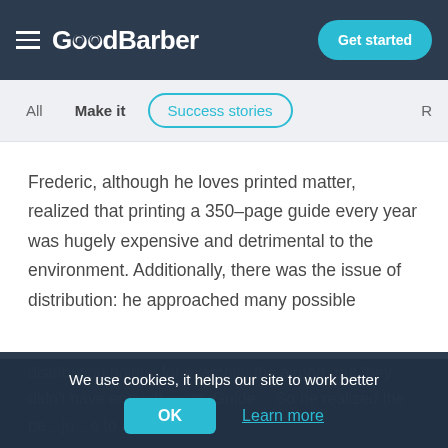GoodBarber — Get started
All | Make it | Success stories | R
Frederic, although he loves printed matter, realized that printing a 350–page guide every year was hugely expensive and detrimental to the environment. Additionally, there was the issue of distribution: he approached many possible
distribution points, for example, the airport, but they didn't have enough room. Guide… So he realized the pe…ju…e to create a
We use cookies, it helps our site to work better
OK | Learn more